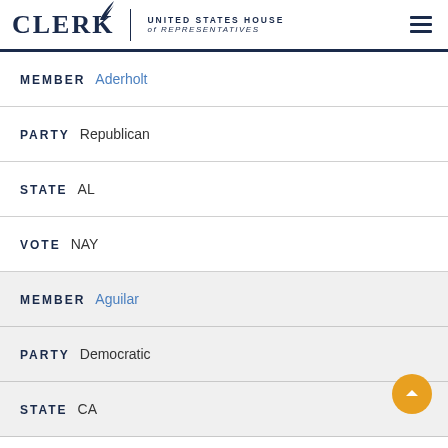CLERK United States House of Representatives
MEMBER Aderholt
PARTY Republican
STATE AL
VOTE NAY
MEMBER Aguilar
PARTY Democratic
STATE CA